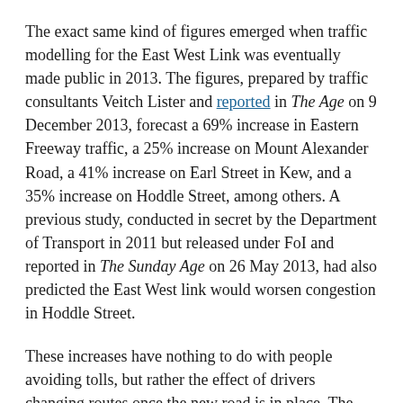The exact same kind of figures emerged when traffic modelling for the East West Link was eventually made public in 2013. The figures, prepared by traffic consultants Veitch Lister and reported in The Age on 9 December 2013, forecast a 69% increase in Eastern Freeway traffic, a 25% increase on Mount Alexander Road, a 41% increase on Earl Street in Kew, and a 35% increase on Hoddle Street, among others. A previous study, conducted in secret by the Department of Transport in 2011 but released under FoI and reported in The Sunday Age on 26 May 2013, had also predicted the East West link would worsen congestion in Hoddle Street.
These increases have nothing to do with people avoiding tolls, but rather the effect of drivers changing routes once the new road is in place. The story has repeated itself elsewhere, such as with Brisbane's 'Clem7' motorway (named after Lord Mayor Clem Jones, who oversaw the shutdown of Brisbane's tram system in 1969). According to the 2005 Environmental Impact